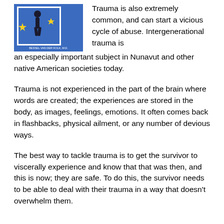[Figure (illustration): Book cover of 'The Body Keeps the Score' by Bessel van der Kolk, M.D. Blue background with a stylized figure and yellow stars.]
Trauma is also extremely common, and can start a vicious cycle of abuse. Intergenerational trauma is an especially important subject in Nunavut and other native American societies today.
Trauma is not experienced in the part of the brain where words are created; the experiences are stored in the body, as images, feelings, emotions. It often comes back in flashbacks, physical ailment, or any number of devious ways.
The best way to tackle trauma is to get the survivor to viscerally experience and know that that was then, and this is now; they are safe. To do this, the survivor needs to be able to deal with their trauma in a way that doesn't overwhelm them.